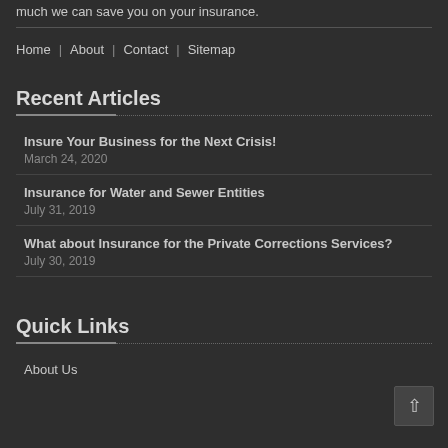much we can save you on your insurance.
Home | About | Contact | Sitemap
Recent Articles
Insure Your Business for the Next Crisis!
March 24, 2020
Insurance for Water and Sewer Entities
July 31, 2019
What about Insurance for the Private Corrections Services?
July 30, 2019
Quick Links
About Us